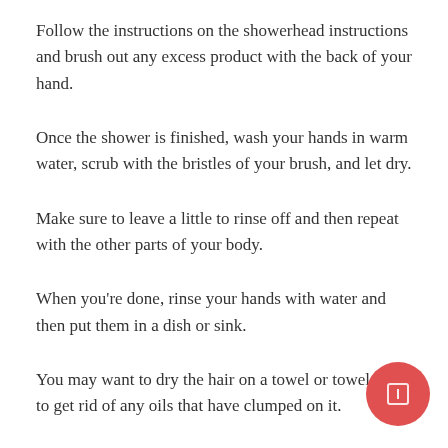Follow the instructions on the showerhead instructions and brush out any excess product with the back of your hand.
Once the shower is finished, wash your hands in warm water, scrub with the bristles of your brush, and let dry.
Make sure to leave a little to rinse off and then repeat with the other parts of your body.
When you're done, rinse your hands with water and then put them in a dish or sink.
You may want to dry the hair on a towel or towel stand to get rid of any oils that have clumped on it.